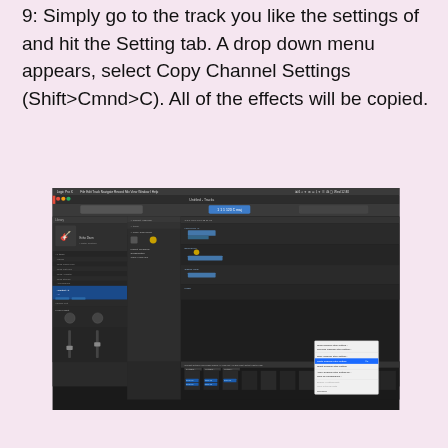9: Simply go to the track you like the settings of and hit the Setting tab. A drop down menu appears, select Copy Channel Settings (Shift>Cmnd>C). All of the effects will be copied.
[Figure (screenshot): Screenshot of Logic Pro X digital audio workstation showing the mixer/channel strip view with a context menu open displaying options including 'Copy Channel Strip Setting' highlighted in blue, along with other channel options.]